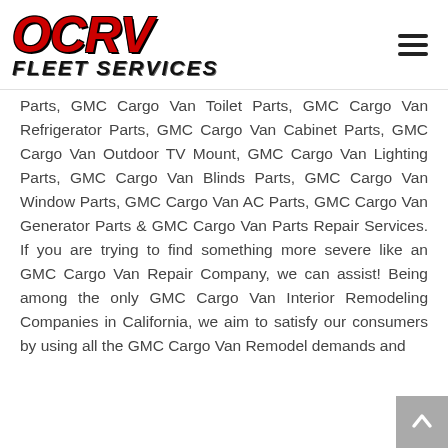[Figure (logo): OCRV Fleet Services logo with red italic OCRV letters and black italic Fleet Services text below]
Parts, GMC Cargo Van Toilet Parts, GMC Cargo Van Refrigerator Parts, GMC Cargo Van Cabinet Parts, GMC Cargo Van Outdoor TV Mount, GMC Cargo Van Lighting Parts, GMC Cargo Van Blinds Parts, GMC Cargo Van Window Parts, GMC Cargo Van AC Parts, GMC Cargo Van Generator Parts & GMC Cargo Van Parts Repair Services. If you are trying to find something more severe like an GMC Cargo Van Repair Company, we can assist! Being among the only GMC Cargo Van Interior Remodeling Companies in California, we aim to satisfy our consumers by using all the GMC Cargo Van Remodel demands and